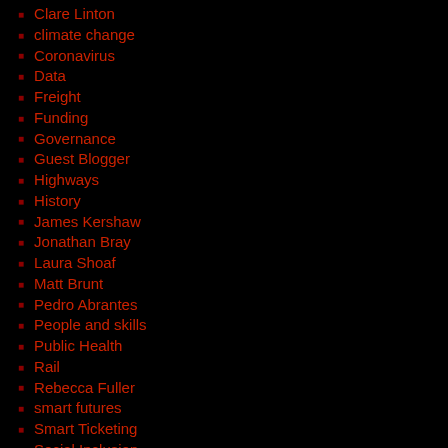Clare Linton
climate change
Coronavirus
Data
Freight
Funding
Governance
Guest Blogger
Highways
History
James Kershaw
Jonathan Bray
Laura Shoaf
Matt Brunt
Pedro Abrantes
People and skills
Public Health
Rail
Rebecca Fuller
smart futures
Smart Ticketing
Social Inclusion
Sustainability